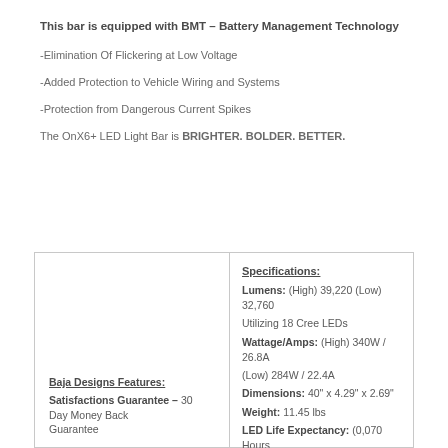This bar is equipped with BMT – Battery Management Technology
-Elimination Of Flickering at Low Voltage
-Added Protection to Vehicle Wiring and Systems
-Protection from Dangerous Current Spikes
The OnX6+ LED Light Bar is BRIGHTER. BOLDER. BETTER.
| Baja Designs Features | Specifications |
| --- | --- |
| Satisfactions Guarantee – 30 Day Money Back Guarantee | Lumens: (High) 39,220 (Low) 32,760 Utilizing 18 Cree LEDs |
|  | Wattage/Amps: (High) 340W / 26.8A (Low) 284W / 22.4A |
|  | Dimensions: 40" x 4.29" x 2.69" |
|  | Weight: 11.45 lbs |
|  | LED Life Expectancy: (0,070 Hours |